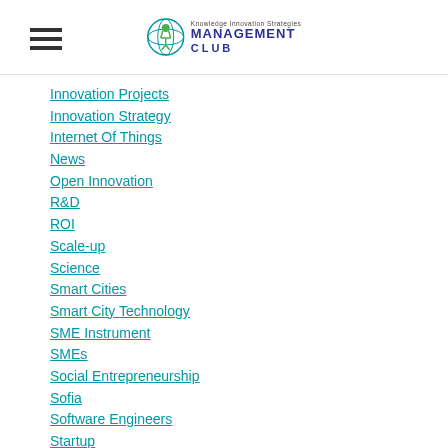Knowledge Innovation Strategies MANAGEMENT CLUB
Innovation Projects
Innovation Strategy
Internet Of Things
News
Open Innovation
R&D
ROI
Scale-up
Science
Smart Cities
Smart City Technology
SME Instrument
SMEs
Social Entrepreneurship
Sofia
Software Engineers
Startup
Students
Universities